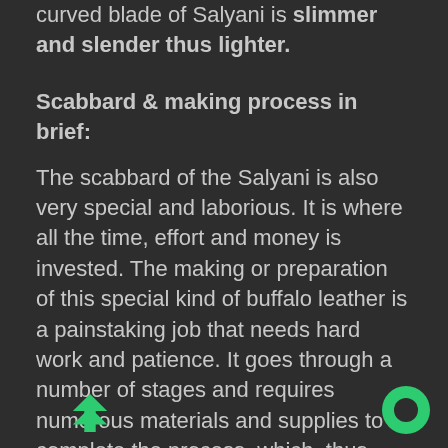curved blade of Salyani is slimmer and slender thus lighter.
Scabbard & making process in brief:
The scabbard of the Salyani is also very special and laborious. It is where all the time, effort and money is invested. The making or preparation of this special kind of buffalo leather is a painstaking job that needs hard work and patience. It goes through a number of stages and requires numerous materials and supplies to complete the process, which, thus may not be possible to mention all. Therefore, in brief, the buffalo hide is submersed in water mixed with salt and lime for almost a month and regularly rubbed by feet to soften the leather. Adding